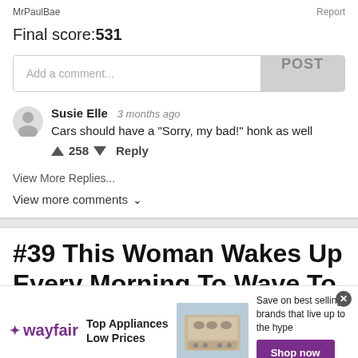MrPaulBae    Report
Final score: 531
Add a comment...  POST
Susie Elle  3 months ago
Cars should have a "Sorry, my bad!" honk as well
↑ 258 ↓  Reply
View More Replies...
View more comments ∨
#39 This Woman Wakes Up Every Morning To Wave To The School Bus
[Figure (screenshot): Wayfair advertisement banner: Top Appliances Low Prices, Save on best selling brands that live up to the hype, Shop now button, image of a stove/range appliance]